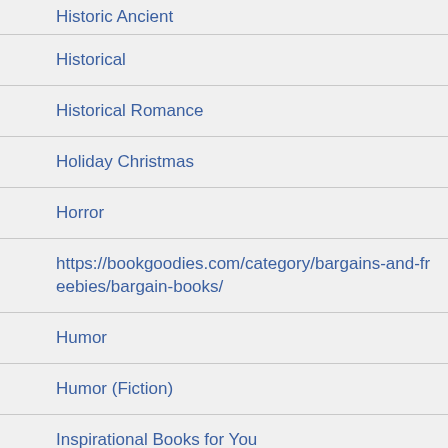Historic Ancient
Historical
Historical Romance
Holiday Christmas
Horror
https://bookgoodies.com/category/bargains-and-freebies/bargain-books/
Humor
Humor (Fiction)
Inspirational Books for You
Journal
Kindle Unlimited